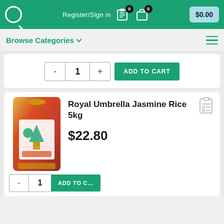Register/Sign in  $0.00
Browse Categories
[Figure (screenshot): Add to cart quantity selector showing minus button, quantity 1, plus button, and ADD TO CART green button]
[Figure (photo): Royal Umbrella Jasmine Rice 5kg product bag - red and yellow packaging]
Royal Umbrella Jasmine Rice 5kg
$22.80
[Figure (screenshot): Add to cart quantity selector and ADD TO CART button (partially visible at bottom)]